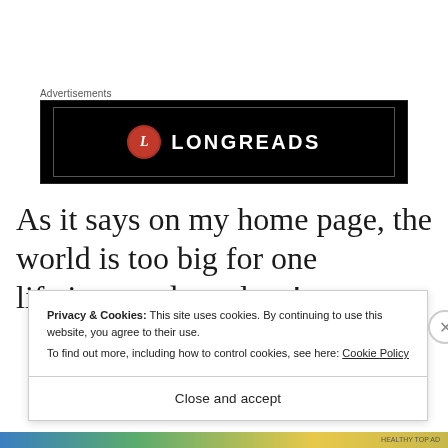Advertisements
[Figure (logo): Longreads advertisement banner: black background with inner border, red circle logo with letter L and LONGREADS text in white]
As it says on my home page, the world is too big for one lifetime, and one lens!
Privacy & Cookies: This site uses cookies. By continuing to use this website, you agree to their use.
To find out more, including how to control cookies, see here: Cookie Policy
Close and accept